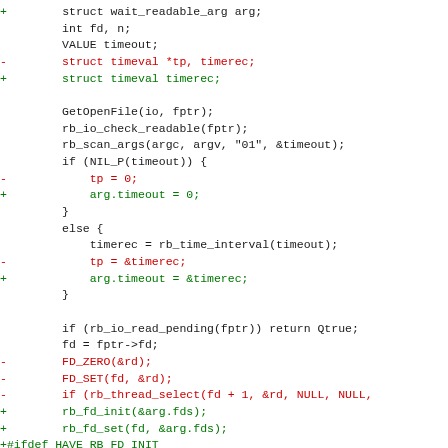[Figure (other): A code diff showing C source code changes. Lines with '-' are removed (shown in red), lines with '+' are added (shown in green), and unchanged lines are in dark/black. The diff shows changes to a wait_readable function including replacing 'tp' pointer parameter with 'arg.timeout' pattern, removing FD_ZERO/FD_SET calls and replacing with rb_fd_init/rb_fd_set calls, and restructuring the threading select call.]